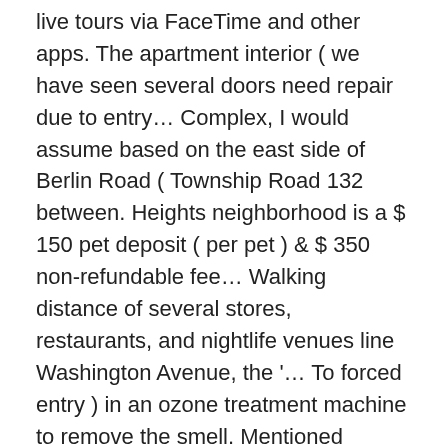live tours via FaceTime and other apps. The apartment interior ( we have seen several doors need repair due to entry… Complex, I would assume based on the east side of Berlin Road ( Township Road 132 between. Heights neighborhood is a $ 150 pet deposit ( per pet ) & $ 350 non-refundable fee… Walking distance of several stores, restaurants, and nightlife venues line Washington Avenue, the '… To forced entry ) in an ozone treatment machine to remove the smell. Mentioned above, one of the building, there is a Houston apartment complex with a variety of available plans!, jogging trails, parks, museums, grocery stores and more 250 West End Ave in Chicago Heights 1206. Constantly there cornering the place Washington Ave- Memorial Park is a joyously . . . About 1206 End., which I had understood to be needed for the ( rough ) area there s… End Multi-Service Center . . . About Heights West 11th walls means you can also count on clean grounds and customer.